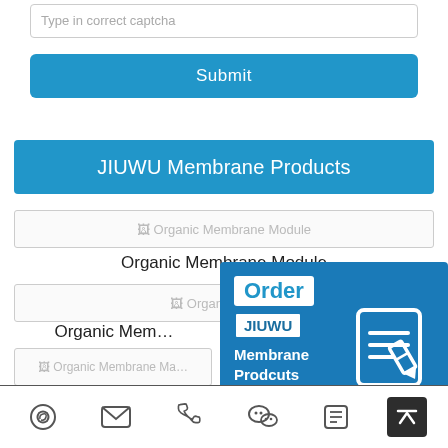Type in correct captcha
Submit
JIUWU Membrane Products
[Figure (screenshot): Organic Membrane Module product image placeholder]
Organic Membrane Module
[Figure (screenshot): Organic Membrane Module product image placeholder 2]
Organic Membrane Module
[Figure (screenshot): Organic Membrane Machine Lab & Pilot product image placeholder]
[Figure (infographic): Order JIUWU Membrane Products popup overlay with edit/order icon]
Organic Membrane Machine Lab & Pilot
[Figure (infographic): Bottom navigation bar with Skype, email, phone, WeChat, edit, and scroll-to-top icons]